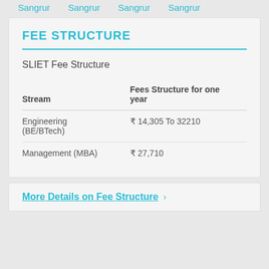Sangrur  Sangrur  Sangrur  Sangrur
FEE STRUCTURE
SLIET Fee Structure
| Stream | Fees Structure for one year |
| --- | --- |
| Engineering (BE/BTech) | ₹ 14,305 To 32210 |
| Management (MBA) | ₹ 27,710 |
More Details on Fee Structure >